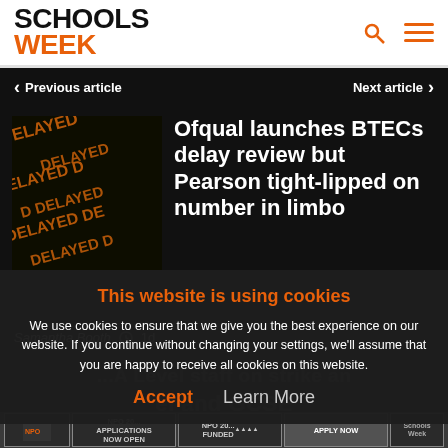[Figure (logo): Schools Week logo with SCHOOLS in black and WEEK in orange]
Previous article | Next article
[Figure (photo): Dark image with repeated DELAYED text in orange dot-matrix style]
Ofqual launches BTECs delay review but Pearson tight-lipped on number in limbo
Samantha Booth  1d
This website is using cookies
We use cookies to ensure that we give you the best experience on our website. If you continue without changing your settings, we'll assume that you are happy to receive all cookies on this website.
Accept  Learn More